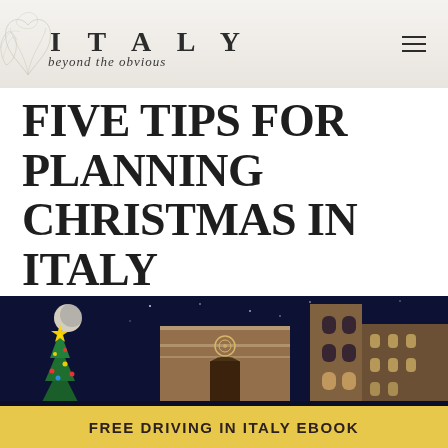ITALY beyond the obvious
FIVE TIPS FOR PLANNING CHRISTMAS IN ITALY
[Figure (photo): Night photo of Florence Cathedral (Duomo) illuminated against a deep blue sky with a full moon, with a Christmas tree decorated in the foreground]
FREE DRIVING IN ITALY EBOOK